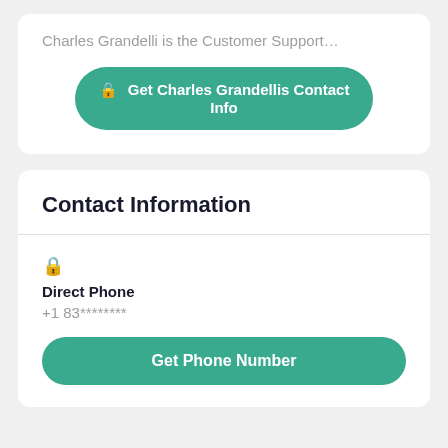Charles Grandelli is the Customer Support…
🔒 Get Charles Grandellis Contact Info
Contact Information
🔒
Direct Phone
+1 83********
Get Phone Number